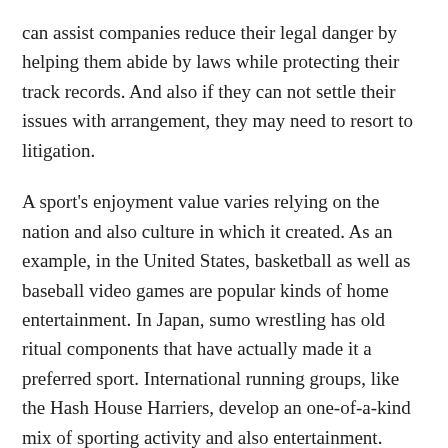can assist companies reduce their legal danger by helping them abide by laws while protecting their track records. And also if they can not settle their issues with arrangement, they may need to resort to litigation.
A sport's enjoyment value varies relying on the nation and also culture in which it created. As an example, in the United States, basketball as well as baseball video games are popular kinds of home entertainment. In Japan, sumo wrestling has old ritual components that have actually made it a preferred sport. International running groups, like the Hash House Harriers, develop an one-of-a-kind mix of sporting activity and also entertainment. While this might appear a little bit severe, some people appreciate adrenaline sports. 🔲🔲🔲🔲🔲
Computer game are no longer booked for children. A large industry has actually developed around the technology. It's very